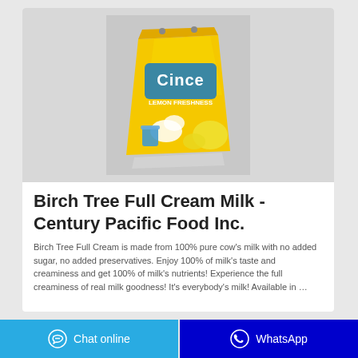[Figure (photo): Yellow bag of Cince Lemon Freshness detergent powder product against a light gray background]
Birch Tree Full Cream Milk - Century Pacific Food Inc.
Birch Tree Full Cream is made from 100% pure cow's milk with no added sugar, no added preservatives. Enjoy 100% of milk's taste and creaminess and get 100% of milk's nutrients! Experience the full creaminess of real milk goodness! It's everybody's milk! Available in …